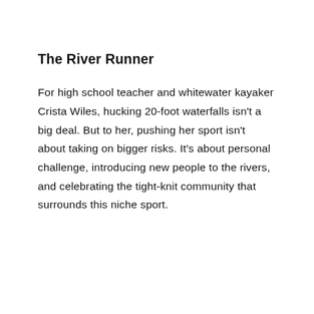The River Runner
For high school teacher and whitewater kayaker Crista Wiles, hucking 20-foot waterfalls isn't a big deal. But to her, pushing her sport isn't about taking on bigger risks. It's about personal challenge, introducing new people to the rivers, and celebrating the tight-knit community that surrounds this niche sport.